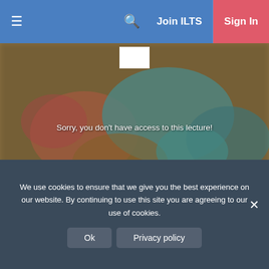≡   🔍   Join ILTS   Sign In
[Figure (screenshot): Blurred video thumbnail with a white box overlay and text: Sorry, you don't have access to this lecture!]
Sorry, you don't have access to this lecture!
▶
This content is only available to Web Visitors and ILTS members. Please sign up for a free Web Visitor account to view this content.
We use cookies to ensure that we give you the best experience on our website. By continuing to use this site you are agreeing to our use of cookies.
Ok   Privacy policy